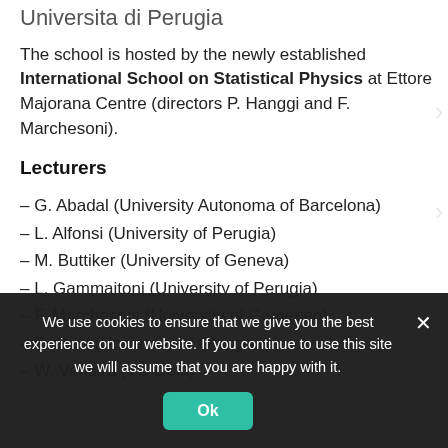Universita di Perugia
The school is hosted by the newly established International School on Statistical Physics at Ettore Majorana Centre (directors P. Hanggi and F. Marchesoni).
Lecturers
– G. Abadal (University Autonoma of Barcelona)
– L. Alfonsi (University of Perugia)
– M. Buttiker (University of Geneva)
– L. Gammaitoni (University of Perugia)
– F. Marchesoni (University of Camerino)
– D. Paul (University of Glasgow)
– W. Venstra (TU Delft)
We use cookies to ensure that we give you the best experience on our website. If you continue to use this site we will assume that you are happy with it.